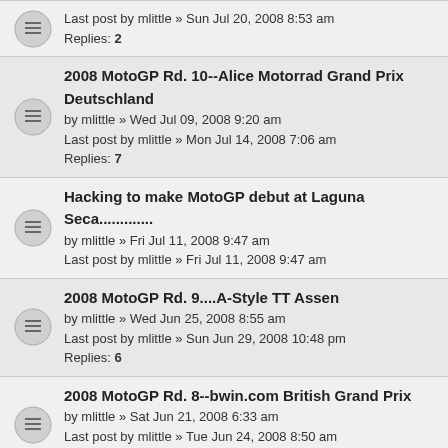Last post by mlittle » Sun Jul 20, 2008 8:53 am
Replies: 2
2008 MotoGP Rd. 10--Alice Motorrad Grand Prix Deutschland
by mlittle » Wed Jul 09, 2008 9:20 am
Last post by mlittle » Mon Jul 14, 2008 7:06 am
Replies: 7
Hacking to make MotoGP debut at Laguna Seca...............
by mlittle » Fri Jul 11, 2008 9:47 am
Last post by mlittle » Fri Jul 11, 2008 9:47 am
2008 MotoGP Rd. 9....A-Style TT Assen
by mlittle » Wed Jun 25, 2008 8:55 am
Last post by mlittle » Sun Jun 29, 2008 10:48 pm
Replies: 6
2008 MotoGP Rd. 8--bwin.com British Grand Prix
by mlittle » Sat Jun 21, 2008 6:33 am
Last post by mlittle » Tue Jun 24, 2008 8:50 am
Replies: 4
Spies to make MotoGP debut at Donington Park.........
by mlittle » Tue Jun 17, 2008 6:48 pm